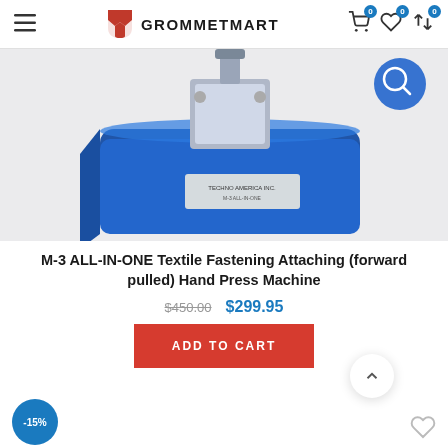GROMMETMART
[Figure (photo): Blue M-3 ALL-IN-ONE Textile Fastening Attaching Hand Press Machine on a light gray background, showing the blue metal press tool with silver mechanism on top and a label on the side.]
M-3 ALL-IN-ONE Textile Fastening Attaching (forward pulled) Hand Press Machine
$450.00  $299.95
ADD TO CART
-15%